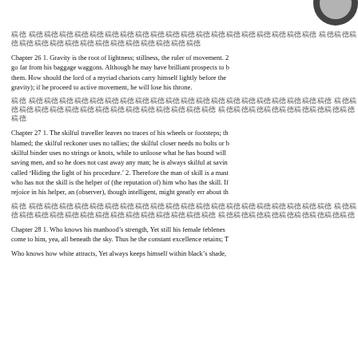[Figure (logo): Partial circular logo/emblem visible in top-right corner]
[Chinese characters - Chapter 26 heading in Chinese]
Chapter 26 1. Gravity is the root of lightness; stillness, the ruler of movement. 2 go far from his baggage waggons. Although he may have brilliant prospects to them. How should the lord of a myriad chariots carry himself lightly before the gravity); if he proceed to active movement, he will lose his throne.
[Chinese characters - Chapter 27 heading in Chinese]
Chapter 27 1. The skilful traveller leaves no traces of his wheels or footsteps; th blamed; the skilful reckoner uses no tallies; the skilful closer needs no bolts or b skilful binder uses no strings or knots, while to unloose what he has bound will saving men, and so he does not cast away any man; he is always skilful at savin called 'Hiding the light of his procedure.' 2. Therefore the man of skill is a mast who has not the skill is the helper of (the reputation of) him who has the skill. If rejoice in his helper, an (observer), though intelligent, might greatly err about th
[Chinese characters - Chapter 28 heading in Chinese]
Chapter 28 1. Who knows his manhood's strength, Yet still his female feblenes come to him, yea, all beneath the sky. Thus he the constant excellence retains; T
Who knows how white attracts, Yet always keeps himself within black's shade,